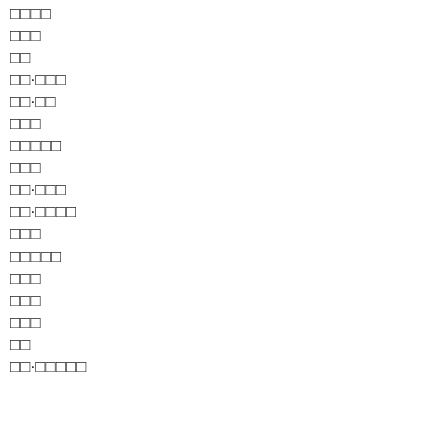□□□□
□□□
□□
□□·□□□
□□·□□
□□□
□□□□□
□□□
□□·□□□
□□·□□□□
□□□
□□□□□
□□□
□□□
□□□
□□
□□·□□□□□